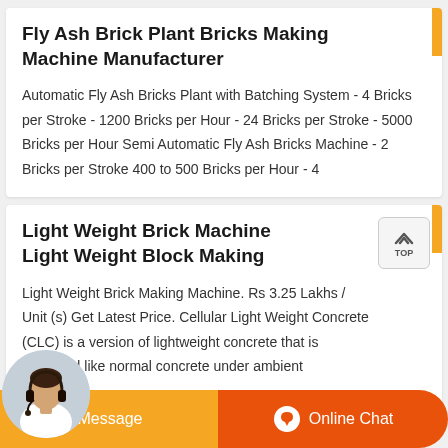Fly Ash Brick Plant Bricks Making Machine Manufacturer
Automatic Fly Ash Bricks Plant with Batching System - 4 Bricks per Stroke - 1200 Bricks per Hour - 24 Bricks per Stroke - 5000 Bricks per Hour Semi Automatic Fly Ash Bricks Machine - 2 Bricks per Stroke 400 to 500 Bricks per Hour - 4
Light Weight Brick Machine Light Weight Block Making
Light Weight Brick Making Machine. Rs 3.25 Lakhs / Unit (s) Get Latest Price. Cellular Light Weight Concrete (CLC) is a version of lightweight concrete that is produced like normal concrete under ambient conditions.
[Figure (other): Customer support representative with headset, Message and Online Chat buttons]